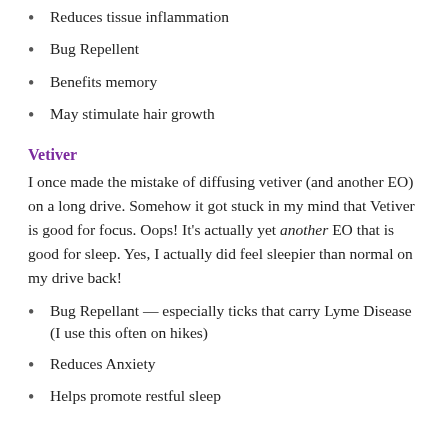Reduces tissue inflammation
Bug Repellent
Benefits memory
May stimulate hair growth
Vetiver
I once made the mistake of diffusing vetiver (and another EO) on a long drive. Somehow it got stuck in my mind that Vetiver is good for focus. Oops! It’s actually yet another EO that is good for sleep. Yes, I actually did feel sleepier than normal on my drive back!
Bug Repellant — especially ticks that carry Lyme Disease (I use this often on hikes)
Reduces Anxiety
Helps promote restful sleep